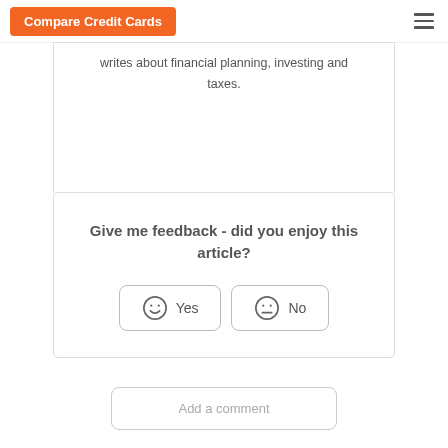Compare Credit Cards
writes about financial planning, investing and taxes.
Give me feedback - did you enjoy this article?
Yes
No
Add a comment